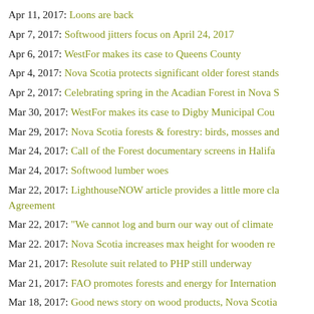Apr 11, 2017: Loons are back
Apr 7, 2017: Softwood jitters focus on April 24, 2017
Apr 6, 2017: WestFor makes its case to Queens County
Apr 4, 2017: Nova Scotia protects significant older forest stands
Apr 2, 2017: Celebrating spring in the Acadian Forest in Nova S…
Mar 30, 2017: WestFor makes its case to Digby Municipal Cou…
Mar 29, 2017: Nova Scotia forests & forestry: birds, mosses and…
Mar 24, 2017: Call of the Forest documentary screens in Halifax…
Mar 24, 2017: Softwood lumber woes
Mar 22, 2017: LighthouseNOW article provides a little more cla… Agreement
Mar 22, 2017: "We cannot log and burn our way out of climate…
Mar 22. 2017: Nova Scotia increases max height for wooden re…
Mar 21, 2017: Resolute suit related to PHP still underway
Mar 21, 2017: FAO promotes forests and energy for Internation…
Mar 18, 2017: Good news story on wood products, Nova Scotia…
Mar 16, 2017: The way of Nova Scotia forests
Mar 12, 2017: Nova Scotia's Clearcut Refugees
Mar 12, 2017: Upcoming presentations/discussions